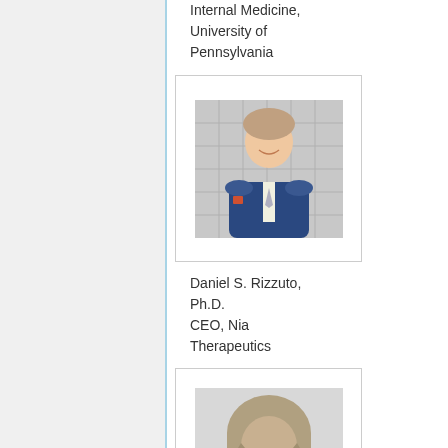Internal Medicine, University of Pennsylvania
[Figure (photo): Headshot of Daniel S. Rizzuto, a man in a blue suit smiling, photographed against a tiled background]
Daniel S. Rizzuto, Ph.D.
CEO, Nia Therapeutics
[Figure (photo): Black and white headshot of a young woman with long hair, smiling]